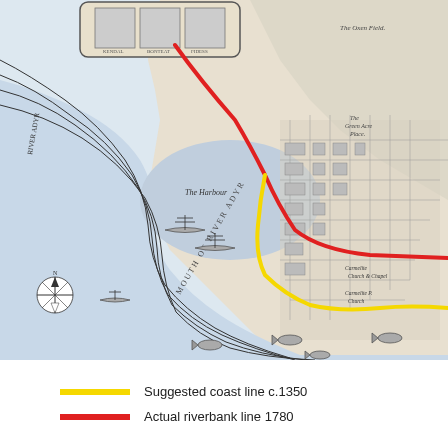[Figure (map): Historical black and white map of a harbour town (likely Aberdeen or similar Scottish burgh) showing the River Adyr mouth, harbour with sailing ships, town street layout, fields, and compass rose. Two overlaid coloured lines indicate: a yellow line for suggested coast line c.1350, and a red line for actual riverbank line 1780.]
Suggested coast line c.1350
Actual riverbank line 1780